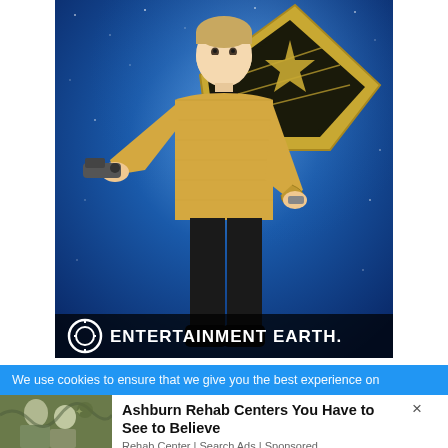[Figure (photo): Entertainment Earth product advertisement showing a Star Trek Captain Kirk action figure/doll in gold uniform holding a phaser, posed against a blue starfield background with a large Starfleet delta/insignia badge. The Entertainment Earth logo and name appear at the bottom of the image.]
We use cookies to ensure that we give you the best experience on
[Figure (photo): Advertisement thumbnail showing two young women outdoors near graffiti, used for a Rehab Centers ad]
Ashburn Rehab Centers You Have to See to Believe
Rehab Center | Search Ads | Sponsored